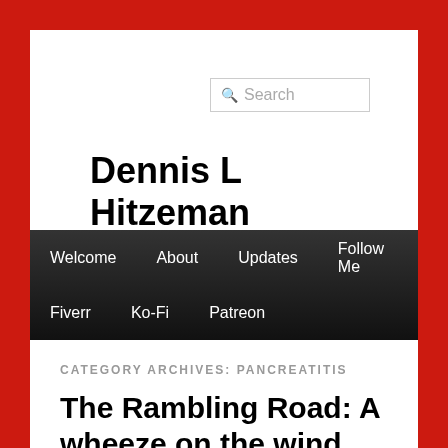Dennis L Hitzeman
CATEGORY ARCHIVES: PANCREATITIS
The Rambling Road: A wheeze on the wind, or the sound of a fat boy